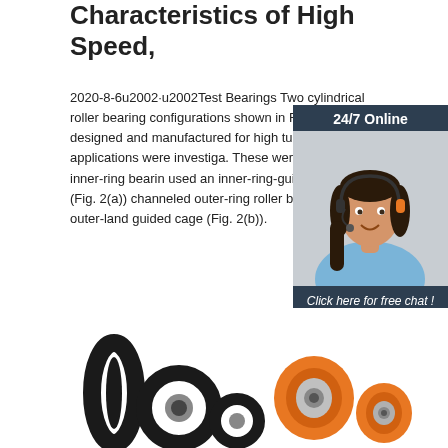Characteristics of High Speed,
2020-8-6u2002·u2002Test Bearings Two cylindrical roller bearing configurations shown in Fig. 2 designed and manufactured for high turbomachinery applications were investiga. These were a channeled inner-ring bearin used an inner-ring-guided cage (Fig. 2(a)) channeled outer-ring roller bearing that us outer-land guided cage (Fig. 2(b)).
[Figure (infographic): Customer service widget with a woman wearing a headset, dark blue background, '24/7 Online' header, 'Click here for free chat!' text, and orange QUOTATION button]
[Figure (photo): Black and orange roller bearings and wheels of various sizes arranged at the bottom of the page]